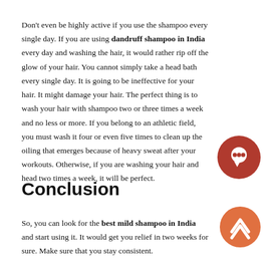Don't even be highly active if you use the shampoo every single day. If you are using dandruff shampoo in India every day and washing the hair, it would rather rip off the glow of your hair. You cannot simply take a head bath every single day. It is going to be ineffective for your hair. It might damage your hair. The perfect thing is to wash your hair with shampoo two or three times a week and no less or more. If you belong to an athletic field, you must wash it four or even five times to clean up the oiling that emerges because of heavy sweat after your workouts. Otherwise, if you are washing your hair and head two times a week, it will be perfect.
Conclusion
So, you can look for the best mild shampoo in India and start using it. It would get you relief in two weeks for sure. Make sure that you stay consistent.